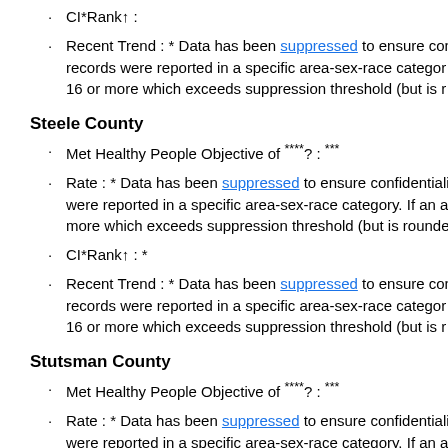CI*Rank↑ :
Recent Trend : * Data has been suppressed to ensure cont records were reported in a specific area-sex-race categor 16 or more which exceeds suppression threshold (but is r
Steele County
Met Healthy People Objective of ****? : ***
Rate : * Data has been suppressed to ensure confidentiali were reported in a specific area-sex-race category. If an a more which exceeds suppression threshold (but is round
CI*Rank↑ : *
Recent Trend : * Data has been suppressed to ensure con records were reported in a specific area-sex-race categor 16 or more which exceeds suppression threshold (but is r
Stutsman County
Met Healthy People Objective of ****? : ***
Rate : * Data has been suppressed to ensure confidentiali were reported in a specific area-sex-race category. If an a more which exceeds suppression threshold (but is round
CI*Rank↑ : *
Recent Trend : * Data has been suppressed to ensure con